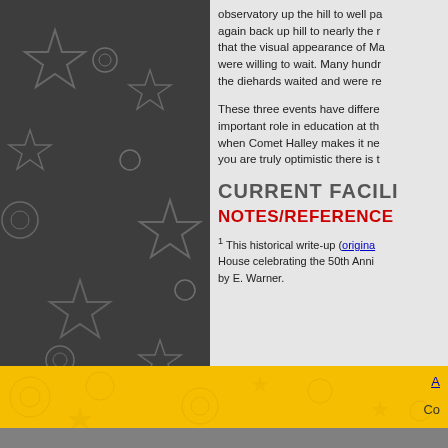observatory up the hill to well pa again back up hill to nearly the r that the visual appearance of Ma were willing to wait. Many hundr the diehards waited and were re
These three events have differe important role in education at th when Comet Halley makes it ne you are truly optimistic there is t
CURRENT FACILI
NOTES/REFERENCE
1 This historical write-up (origina House celebrating the 50th Anni by E. Warner.
A... Co...